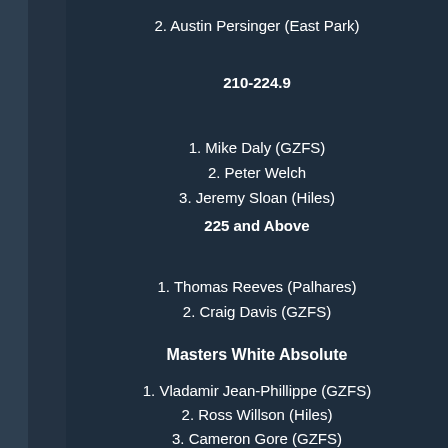2. Austin Persinger (East Park)
210-224.9
1. Mike Daly (GZFS)
2. Peter Welch
3. Jeremy Sloan (Hiles)
225 and Above
1. Thomas Reeves (Palhares)
2. Craig Davis (GZFS)
Masters White Absolute
1. Vladamir Jean-Phillippe (GZFS)
2. Ross Willson (Hiles)
3. Cameron Gore (GZFS)
Men's Blue Belt
149 and Under